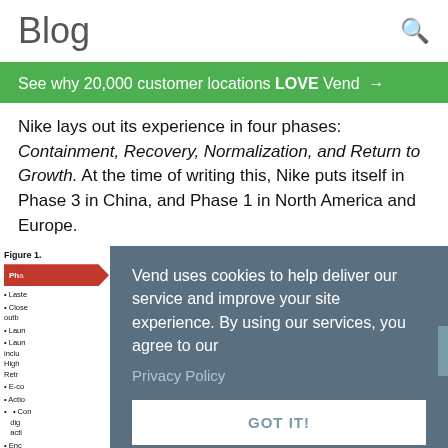Blog
See why 20,000 customer locations LOVE Vend →
Nike lays out its experience in four phases: Containment, Recovery, Normalization, and Return to Growth. At the time of writing this, Nike puts itself in Phase 3 in China, and Phase 1 in North America and Europe.
[Figure (infographic): Nike four phases diagram partially visible behind cookie consent overlay. Figure 1 label visible with phase arrow in red, and bullet points listing phase activities including e-commerce, actions, launch, etc.]
Vend uses cookies to help deliver our service and improve your site experience. By using our services, you agree to our Privacy Policy GOT IT!